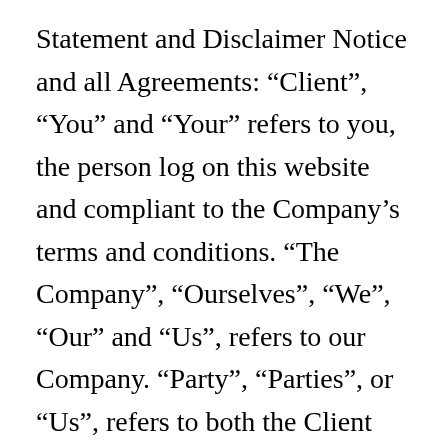Statement and Disclaimer Notice and all Agreements: “Client”, “You” and “Your” refers to you, the person log on this website and compliant to the Company’s terms and conditions. “The Company”, “Ourselves”, “We”, “Our” and “Us”, refers to our Company. “Party”, “Parties”, or “Us”, refers to both the Client and ourselves. All terms refer to the offer, acceptance and consideration of payment necessary to undertake the process of our assistance to the Client in the most appropriate manner for the express